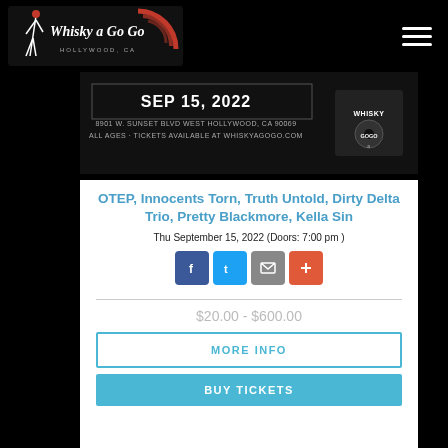[Figure (logo): Whisky a Go Go Hollywood CA logo — white script on black background with red record graphic]
[Figure (photo): Event banner for show at Whisky a Go Go. Text: Sep 15, 2022 / 8901 W. Sunset Blvd West Hollywood, CA 90069 / All Ages - Tickets available at whiskyagogo.com. Whisky a Go Go logo on right.]
OTEP, Innocents Torn, Truth Untold, Dirty Delta Trio, Pretty Blackmore, Kella Sin
Thu September 15, 2022 (Doors: 7:00 pm )
[Figure (infographic): Social share buttons: Facebook (blue), Twitter (light blue), Email (gray), Plus/More (orange-red)]
$20.00 - $600.00
MORE INFO
BUY TICKETS